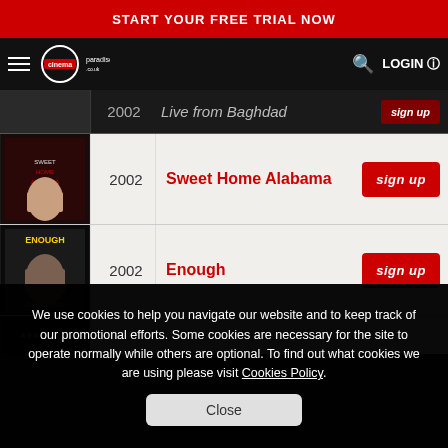START YOUR FREE TRIAL NOW
[Figure (screenshot): Cinema Paradiso logo and navigation bar with hamburger menu, search icon, and LOGIN button]
2002  Live from Baghdad  sign up
[Figure (photo): Sweet Home Alabama DVD cover]
2002  Sweet Home Alabama  sign up
[Figure (photo): Enough DVD cover]
2002  Enough  sign up
[Figure (photo): Abandon DVD cover (partial)]
We use cookies to help you navigate our website and to keep track of our promotional efforts. Some cookies are necessary for the site to operate normally while others are optional. To find out what cookies we are using please visit Cookies Policy.
Close